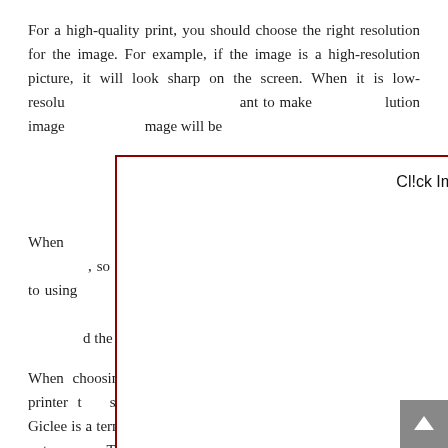For a high-quality print, you should choose the right resolution for the image. For example, if the image is a high-resolution picture, it will look sharp on the screen. When it is low-resolu[tion, you do not w]ant to make[…high-res]olution image[…the]mage will be[…]
[Figure (screenshot): A modal/popup overlay box with a dark red border containing the text 'Cl!ck Imag3 To Close!' at the top, covering the middle portion of the page content.]
When choosing a printing partner, you can select a printer that specializes in high-quality giclee prints. Giclee is a term f[or a] specialized process of spraying ink onto canvas. This method is